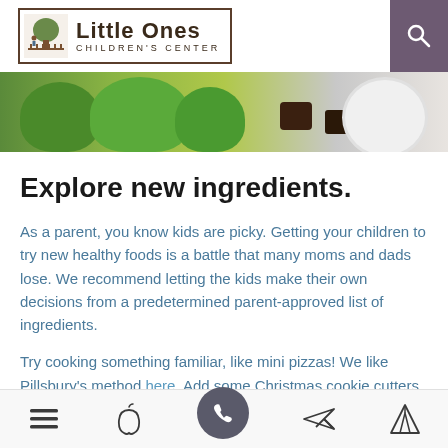[Figure (logo): Little Ones Children's Center logo with tree illustration and border]
[Figure (photo): Hero image showing green rice crispy treat mounds and chocolate pieces on a plate]
Explore new ingredients.
As a parent, you know kids are picky. Getting your children to try new healthy foods is a battle that many moms and dads lose. We recommend letting the kids make their own decisions from a predetermined parent-approved list of ingredients.
Try cooking something familiar, like mini pizzas! We like Pillsbury's method here. Add some Christmas cookie cutters, you can turn dinner into an interactive experience. Skip the pepperoni this time and let your little learner decorate their Christmas pizza with new options like artichoke hearts red bell
Navigation bar with menu, apple, phone, send, and tent icons